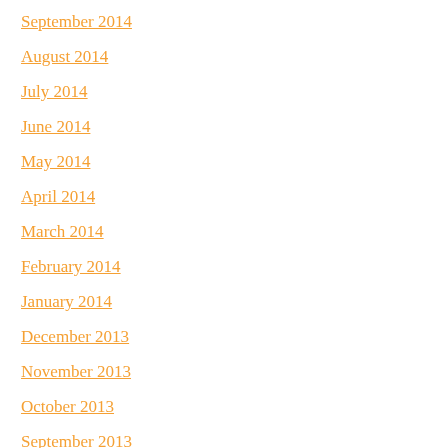September 2014
August 2014
July 2014
June 2014
May 2014
April 2014
March 2014
February 2014
January 2014
December 2013
November 2013
October 2013
September 2013
August 2013
July 2013